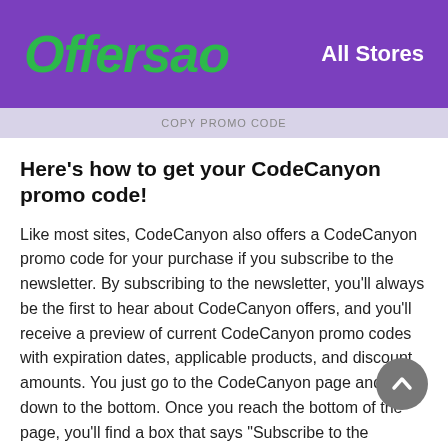Offersao   All Stores
Here's how to get your CodeCanyon promo code!
Like most sites, CodeCanyon also offers a CodeCanyon promo code for your purchase if you subscribe to the newsletter. By subscribing to the newsletter, you'll always be the first to hear about CodeCanyon offers, and you'll receive a preview of current CodeCanyon promo codes with expiration dates, applicable products, and discount amounts. You just go to the CodeCanyon page and move down to the bottom. Once you reach the bottom of the page, you'll find a box that says "Subscribe to the CodeCanyon Newsletter." Subscribe to the CodeCanyon newsletter by entering your email address in the "Your Email Address" box to choose from